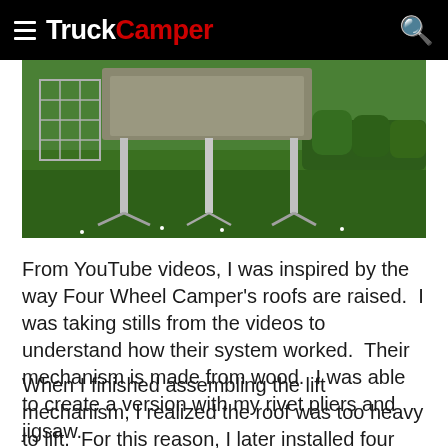TruckCamper
[Figure (photo): A truck camper elevated on metal stands/legs in a green lawn setting, with hedges and garden in the background.]
From YouTube videos, I was inspired by the way Four Wheel Camper's roofs are raised.  I was taking stills from the videos to understand how their system worked.  Their mechanism is made from wood.  I was able to create a version with my rivet pliers and jigsaw.
When I finished assembling the lift mechanism, I realized the roof was too heavy to lift.  For this reason, I later installed four hydraulic jacks which greatly facilitates the task.